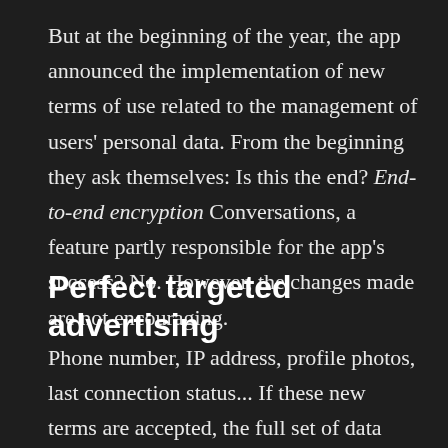But at the beginning of the year, the app announced the implementation of new terms of use related to the management of users' personal data. From the beginning they ask themselves: Is this the end? End-to-end encryption Conversations, a feature partly responsible for the app's success? No. However, the changes made are not encouraging.
Perfect targeted advertising
Phone number, IP address, profile photos, last connection status... If these new terms are accepted, the full set of data held by WhatsApp will be shared with the entire Facebook group